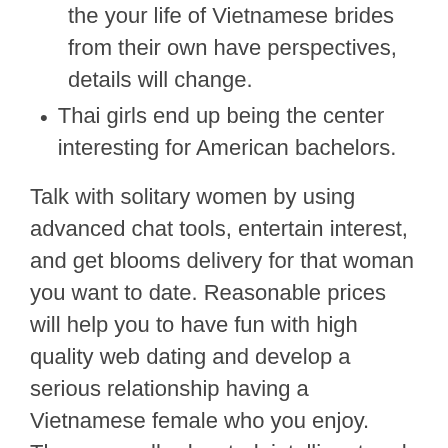Nevertheless, in cases where all of us try to view the your life of Vietnamese brides from their own have perspectives, details will change.
Thai girls end up being the center interesting for American bachelors.
Talk with solitary women by using advanced chat tools, entertain interest, and get blooms delivery for that woman you want to date. Reasonable prices will help you to have fun with high quality web dating and develop a serious relationship having a Vietnamese female who you enjoy. They are well-educated, intelligent and these people own good manners.
They are exciting, and always own a positive feel around them. Vietnamese women also appreciate taking care linked to themselves. They usually are never ever timid to put on make-up and liven up to go out upon a date or simply with friends.